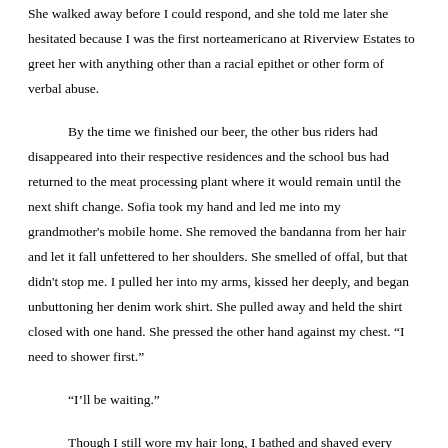She walked away before I could respond, and she told me later she hesitated because I was the first norteamericano at Riverview Estates to greet her with anything other than a racial epithet or other form of verbal abuse.

By the time we finished our beer, the other bus riders had disappeared into their respective residences and the school bus had returned to the meat processing plant where it would remain until the next shift change. Sofia took my hand and led me into my grandmother's mobile home. She removed the bandanna from her hair and let it fall unfettered to her shoulders. She smelled of offal, but that didn't stop me. I pulled her into my arms, kissed her deeply, and began unbuttoning her denim work shirt. She pulled away and held the shirt closed with one hand. She pressed the other hand against my chest. “I need to shower first.”

“I’ll be waiting.”

Though I still wore my hair long, I bathed and shaved every morning